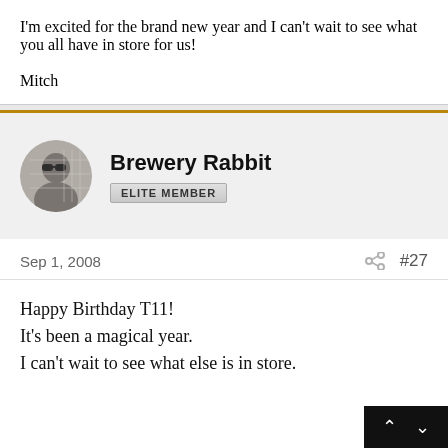I'm excited for the brand new year and I can't wait to see what you all have in store for us!

Mitch
[Figure (photo): User avatar photo of Brewery Rabbit, circular crop, person wearing sunglasses]
Brewery Rabbit
ELITE MEMBER
Sep 1, 2008
#27
Happy Birthday T11!
It's been a magical year.
I can't wait to see what else is in store.